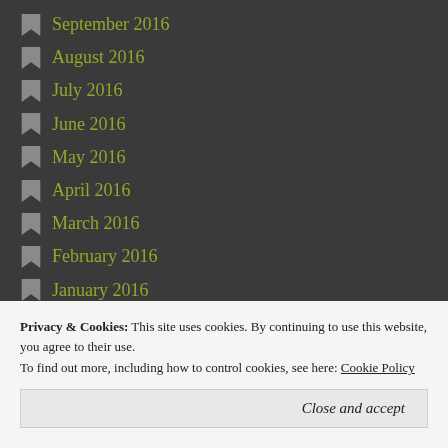September 2016
August 2016
July 2016
June 2016
May 2016
April 2016
March 2016
February 2016
January 2016
December 2015
November 2015
October 2015
September 2015
Privacy & Cookies: This site uses cookies. By continuing to use this website, you agree to their use. To find out more, including how to control cookies, see here: Cookie Policy
Close and accept